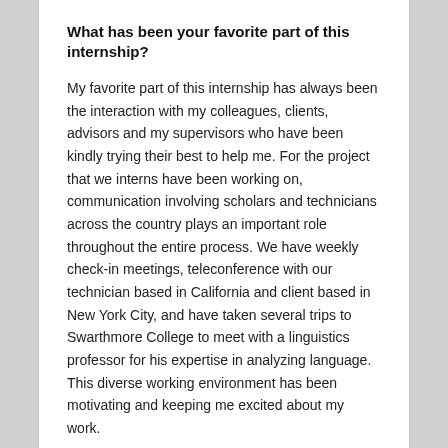What has been your favorite part of this internship?
My favorite part of this internship has always been the interaction with my colleagues, clients, advisors and my supervisors who have been kindly trying their best to help me. For the project that we interns have been working on, communication involving scholars and technicians across the country plays an important role throughout the entire process. We have weekly check-in meetings, teleconference with our technician based in California and client based in New York City, and have taken several trips to Swarthmore College to meet with a linguistics professor for his expertise in analyzing language. This diverse working environment has been motivating and keeping me excited about my work.
What is most rewarding about your internship?
The most rewarding part about my internship is that my client, a linguistics scholar, is satisfied with and excited